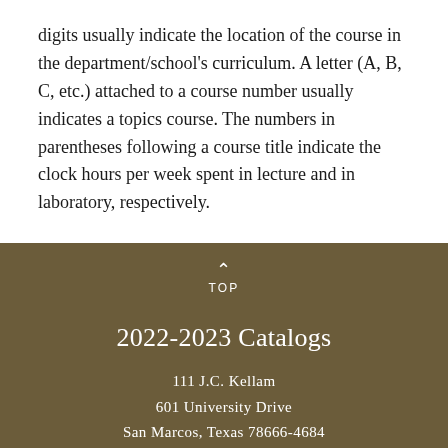digits usually indicate the location of the course in the department/school's curriculum. A letter (A, B, C, etc.) attached to a course number usually indicates a topics course. The numbers in parentheses following a course title indicate the clock hours per week spent in lecture and in laboratory, respectively.
TOP
2022-2023 Catalogs
111 J.C. Kellam
601 University Drive
San Marcos, Texas 78666-4684